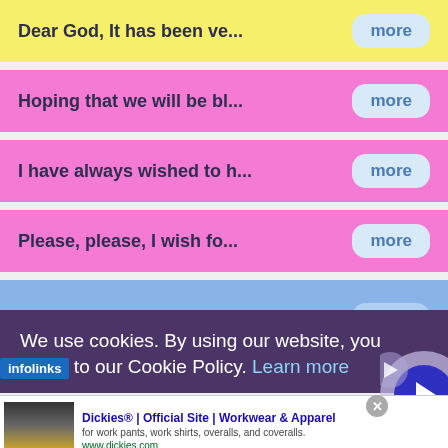Dear God, It has been ve... more
Hoping that we will be bl... more
I have always wished to h... more
Please, please, I wish fo... more
(partially visible) more
We use cookies. By using our website, you agree to our Cookie Policy. Learn more
infolinks
Dickies® | Official Site | Workwear & Apparel
for work pants, work shirts, overalls, and coveralls.
www.dickies.com